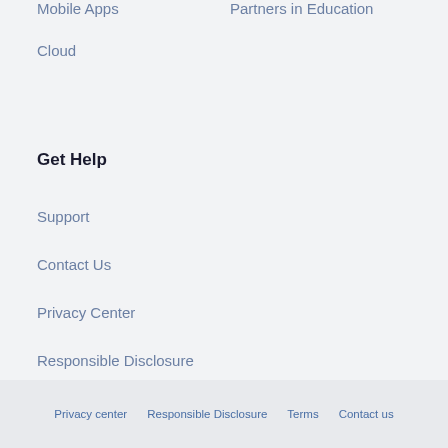Mobile Apps
Partners in Education
Cloud
Get Help
Support
Contact Us
Privacy Center
Responsible Disclosure
Privacy center   Responsible Disclosure   Terms   Contact us